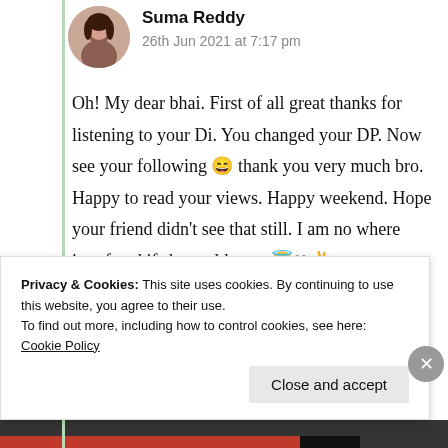[Figure (photo): Circular avatar photo of a young woman]
Suma Reddy
26th Jun 2021 at 7:17 pm
Oh! My dear bhai. First of all great thanks for listening to your Di. You changed your DP. Now see your following 😄 thank you very much bro. Happy to read your views. Happy weekend. Hope your friend didn't see that still. I am no where interfered if she scolds you 😇❤✌
Privacy & Cookies: This site uses cookies. By continuing to use this website, you agree to their use.
To find out more, including how to control cookies, see here: Cookie Policy
Close and accept